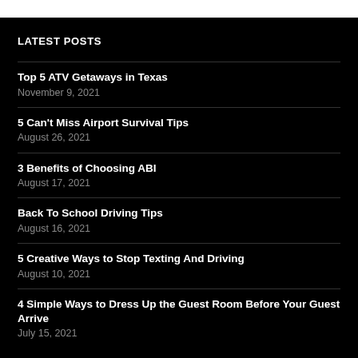LATEST POSTS
Top 5 ATV Getaways in Texas
November 9, 2021
5 Can't Miss Airport Survival Tips
August 26, 2021
3 Benefits of Choosing ABI
August 17, 2021
Back To School Driving Tips
August 16, 2021
5 Creative Ways to Stop Texting And Driving
August 10, 2021
4 Simple Ways to Dress Up the Guest Room Before Your Guest Arrive
July 15, 2021